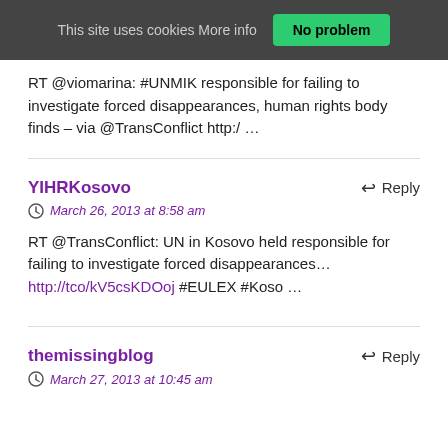This site uses cookies More info  No problem
RT @viomarina: #UNMIK responsible for failing to investigate forced disappearances, human rights body finds – via @TransConflict http:/ …
YIHRKosovo — Reply — March 26, 2013 at 8:58 am — RT @TransConflict: UN in Kosovo held responsible for failing to investigate forced disappearances… http://tco/kV5csKDOoj #EULEX #Koso …
themissingblog — Reply — March 27, 2013 at 10:45 am